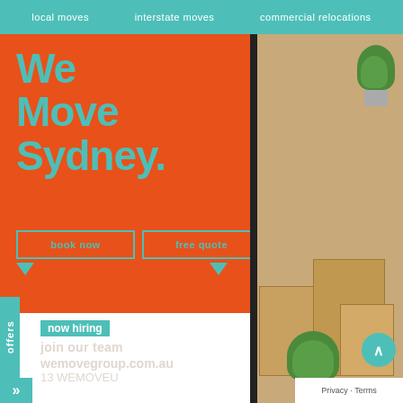local moves   interstate moves   commercial relocations
We Move Sydney.
book now   free quote   1300 017 159
offers
now hiring
join our team
wemovegroup.com.au
13 WEMOVEU
[Figure (photo): Moving boxes and green plants stacked near a window]
Privacy · Terms